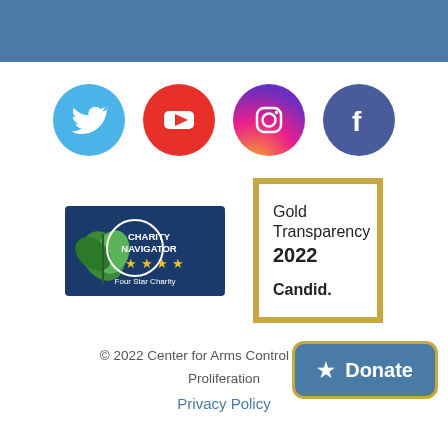[Figure (logo): Blue header bar at the top of the page]
[Figure (logo): Four social media icons in circles: Twitter (blue bird), YouTube (red play button), Instagram (colorful camera), Facebook (dark blue f)]
[Figure (logo): Charity Navigator Four Star Charity badge with navy and green logo and gold stars]
[Figure (logo): Gold-bordered Candid Gold Transparency 2022 badge]
© 2022 Center for Arms Control and Non-Proliferation
Privacy Policy
[Figure (logo): Blue Donate button with gold border and star icon]